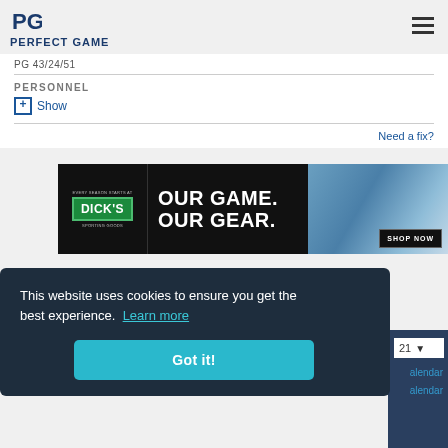PERFECT GAME
PG 43/24/51
PERSONNEL
⊞ Show
Need a fix?
[Figure (photo): Dick's Sporting Goods advertisement banner: OUR GAME. OUR GEAR. SHOP NOW]
This website uses cookies to ensure you get the best experience. Learn more
Got it!